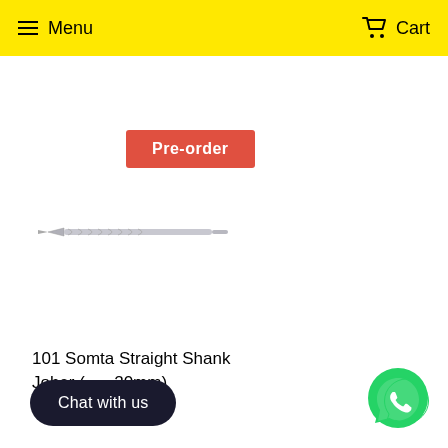Menu  Cart
Pre-order
[Figure (photo): A silver straight shank jobber drill bit shown horizontally]
101 Somta Straight Shank Jobber (... - 20mm)
Chat with us